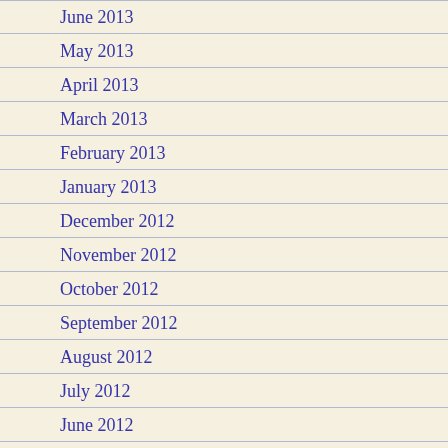June 2013
May 2013
April 2013
March 2013
February 2013
January 2013
December 2012
November 2012
October 2012
September 2012
August 2012
July 2012
June 2012